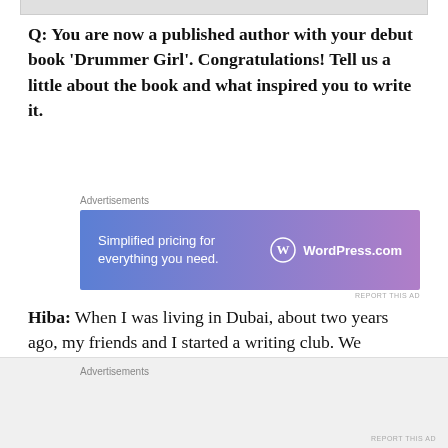[Figure (photo): Top portion of an image, cropped, showing partial photograph at the top of the page]
Q: You are now a published author with your debut book ‘Drummer Girl’. Congratulations! Tell us a little about the book and what inspired you to write it.
[Figure (other): WordPress.com advertisement banner with gradient blue-purple background. Text: 'Simplified pricing for everything you need.' and 'WordPress.com' logo on right side.]
Hiba: When I was living in Dubai, about two years ago, my friends and I started a writing club. We were all moms of young kids, bursting with creativity and
Advertisements
REPORT THIS AD